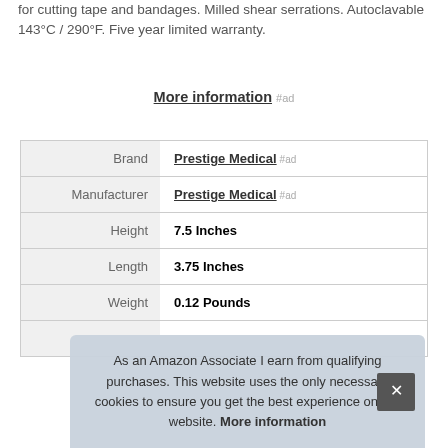for cutting tape and bandages. Milled shear serrations. Autoclavable 143°C / 290°F. Five year limited warranty.
More information #ad
|  |  |
| --- | --- |
| Brand | Prestige Medical #ad |
| Manufacturer | Prestige Medical #ad |
| Height | 7.5 Inches |
| Length | 3.75 Inches |
| Weight | 0.12 Pounds |
As an Amazon Associate I earn from qualifying purchases. This website uses the only necessary cookies to ensure you get the best experience on our website. More information